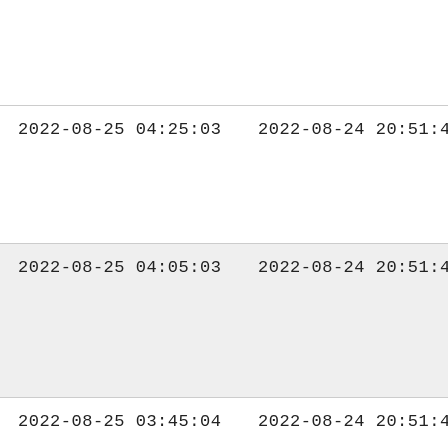| 2022-08-25 04:25:03 | 2022-08-24 20:51:43 | 2. |
| 2022-08-25 04:05:03 | 2022-08-24 20:51:43 | 1. |
| 2022-08-25 03:45:04 | 2022-08-24 20:51:43 | 1. |
| 2022-08-25 03:25:04 | 2022-08-24 20:51:43 | 1. |